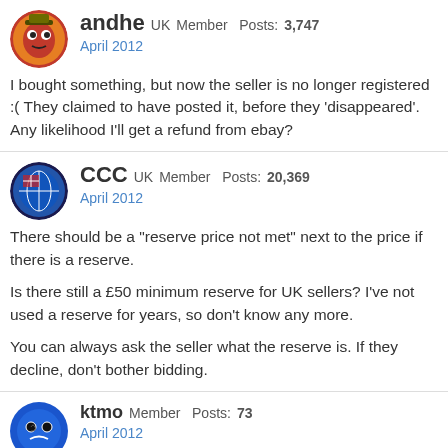andhe UK Member Posts: 3,747
April 2012
I bought something, but now the seller is no longer registered :( They claimed to have posted it, before they 'disappeared'. Any likelihood I'll get a refund from ebay?
CCC UK Member Posts: 20,369
April 2012
There should be a "reserve price not met" next to the price if there is a reserve.

Is there still a £50 minimum reserve for UK sellers? I've not used a reserve for years, so don't know any more.

You can always ask the seller what the reserve is. If they decline, don't bother bidding.
ktmo Member Posts: 73
April 2012
It bugs me, too. I hate that when I search by a set number, I have to weed